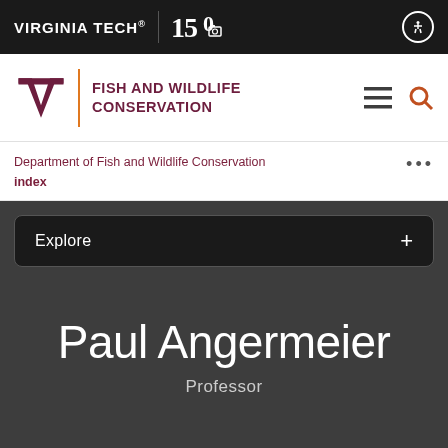VIRGINIA TECH® | 150 [anniversary logo]
[Figure (logo): Virginia Tech logo with VT monogram and Fish and Wildlife Conservation department name in maroon with orange vertical divider]
Department of Fish and Wildlife Conservation
index
Explore +
Paul Angermeier
Professor